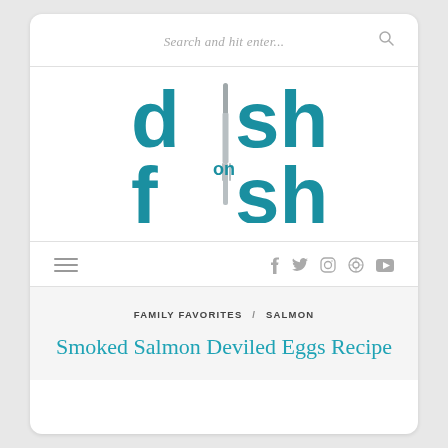Search and hit enter...
[Figure (logo): Dish on Fish logo — teal bold text reading 'dish on fish' with a knife and fork graphic replacing the 'i' letters]
Navigation bar with hamburger menu and social icons: f, twitter, instagram, pinterest, youtube
FAMILY FAVORITES / SALMON
Smoked Salmon Deviled Eggs Recipe